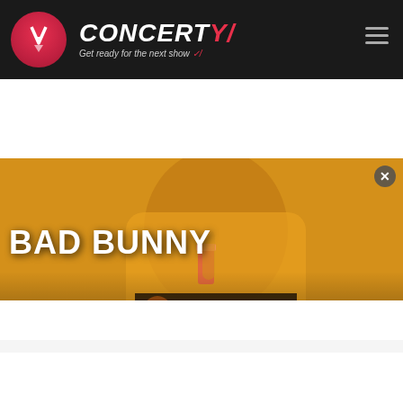[Figure (screenshot): Concerty website header with logo (pink circle with Y icon), CONCERTY text in white italic with red slash, subtitle 'Get ready for the next show' in italic, hamburger menu icon on right, all on dark background]
[Figure (photo): Main hero image showing a person in yellow outfit with paisley pants holding a drink on yellow background, with BAD BUNNY text overlay at bottom left]
[Figure (screenshot): Embedded video panel showing '10 Greatest Mal...' title with LOUD LISTS badge, singer performing in background, play/skip controls at bottom]
[Figure (screenshot): Bottom bar with red number 10 block, ESTADIO text with location pin icon, and video volume/close controls]
[Figure (screenshot): Advertisement banner: 'Tailored ad management solutions for every publisher' with FreeSTar branding, LEARN MORE button, close X button, on dark illustrated background]